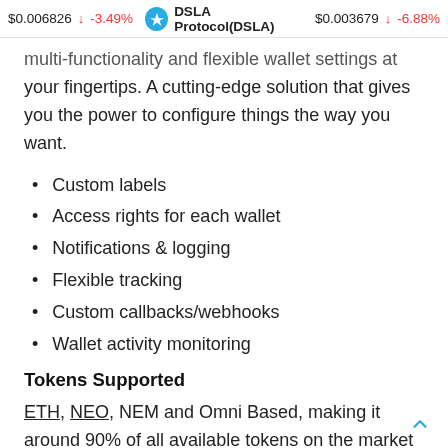$0.006826 ▼ -3.49%   DSLA Protocol(DSLA)   $0.003679 ▼ -6.88%
multi-functionality and flexible wallet settings at your fingertips. A cutting-edge solution that gives you the power to configure things the way you want.
Custom labels
Access rights for each wallet
Notifications & logging
Flexible tracking
Custom callbacks/webhooks
Wallet activity monitoring
Tokens Supported
ETH, NEO, NEM and Omni Based, making it around 90% of all available tokens on the market